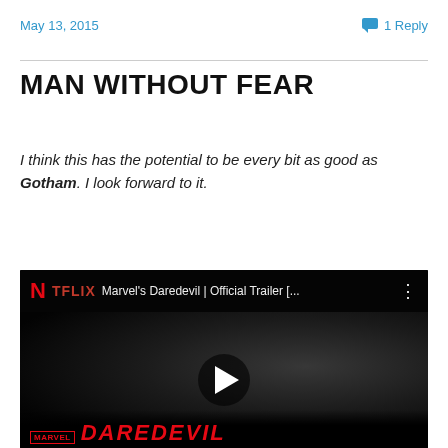May 13, 2015    💬 1 Reply
MAN WITHOUT FEAR
I think this has the potential to be every bit as good as Gotham. I look forward to it.
[Figure (screenshot): Embedded YouTube video thumbnail showing Netflix Daredevil Official Trailer with a dark close-up of a man's face, play button overlay, Marvel logo and Daredevil title text at bottom.]